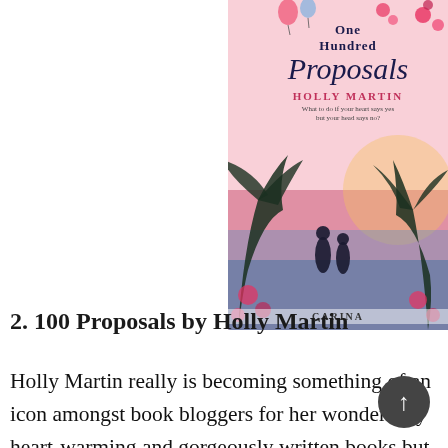[Figure (illustration): Book cover of '100 Proposals' (One Hundred Proposals) by Holly Martin, published by Carina. Pink/red floral cover with silhouettes of a couple and tropical scenery.]
2. 100 Proposals by Holly Martin
Holly Martin really is becoming something of an icon amongst book bloggers for her wonderfully heart-warming and gorgeously written books but she well and truly out-did herself with this one. After reading The Guestbook, I didn't think she could top it but she absolutely did. I felt everything there is to possibly feel for this book. I didn't stop smiling, laughing or crying throughout the entire thing. Holly has such a